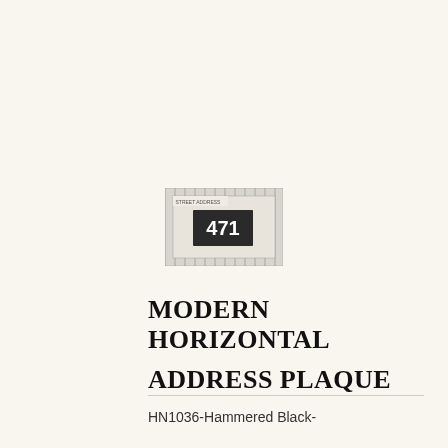[Figure (photo): Small product photo of a modern horizontal address plaque showing numbers '471' on a dark background with a light border, mounted on a wall or fence surface with vertical lines]
MODERN HORIZONTAL ADDRESS PLAQUE
HN1036-Hammered Black-